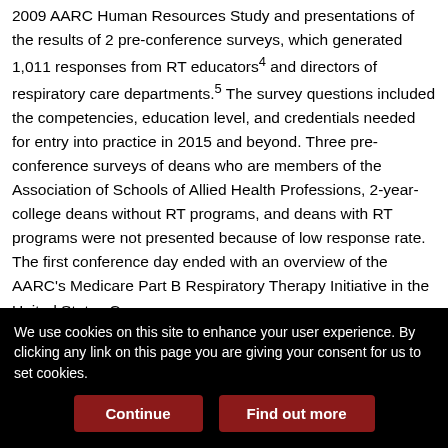2009 AARC Human Resources Study and presentations of the results of 2 pre-conference surveys, which generated 1,011 responses from RT educators4 and directors of respiratory care departments.5 The survey questions included the competencies, education level, and credentials needed for entry into practice in 2015 and beyond. Three pre-conference surveys of deans who are members of the Association of Schools of Allied Health Professions, 2-year-college deans without RT programs, and deans with RT programs were not presented because of low response rate. The first conference day ended with an overview of the AARC's Medicare Part B Respiratory Therapy Initiative in the United States Congress.

The second day of the conference focused on generating, discussing, and accepting recommendations for change. We used
We use cookies on this site to enhance your user experience. By clicking any link on this page you are giving your consent for us to set cookies.